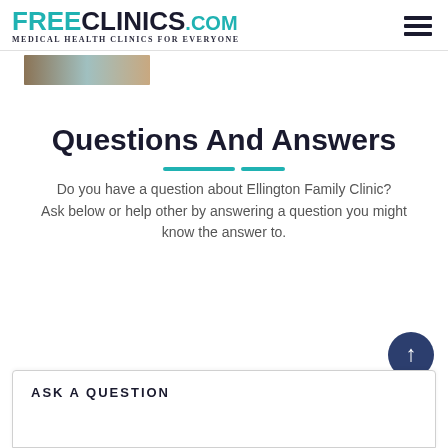FREECLINICS.COM — Medical Health Clinics For Everyone
[Figure (photo): Partial cropped photo strip at top of page, showing a person/clinic scene]
Questions And Answers
Do you have a question about Ellington Family Clinic? Ask below or help other by answering a question you might know the answer to.
ASK A QUESTION